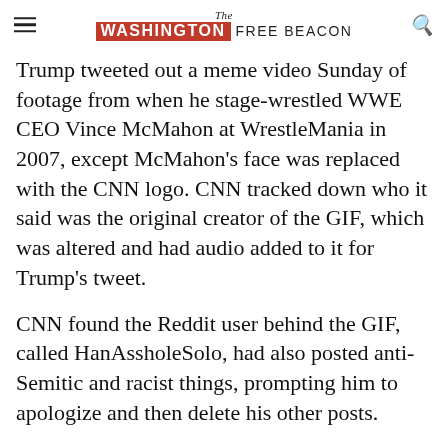The Washington Free Beacon
Trump tweeted out a meme video Sunday of footage from when he stage-wrestled WWE CEO Vince McMahon at WrestleMania in 2007, except McMahon's face was replaced with the CNN logo. CNN tracked down who it said was the original creator of the GIF, which was altered and had audio added to it for Trump's tweet.
CNN found the Reddit user behind the GIF, called HanAssholeSolo, had also posted anti-Semitic and racist things, prompting him to apologize and then delete his other posts.
CNN wrote it would not reveal his identity publicly because he had atoned for his earlier